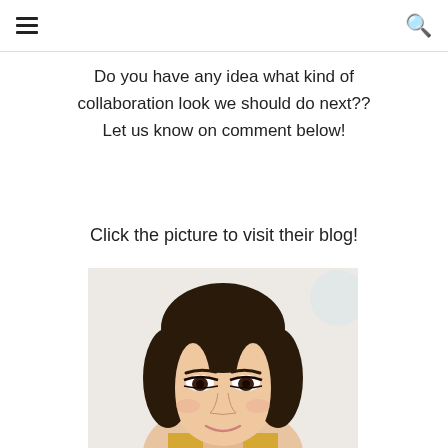[hamburger menu icon] [search icon]
Do you have any idea what kind of collaboration look we should do next?? Let us know on comment below!
Click the picture to visit their blog!
[Figure (photo): Portrait photo of a young Asian woman with dark hair pulled back, wearing natural makeup with pronounced eye liner, slight smile, white/light background with a faint blue circular shape visible on the right side.]